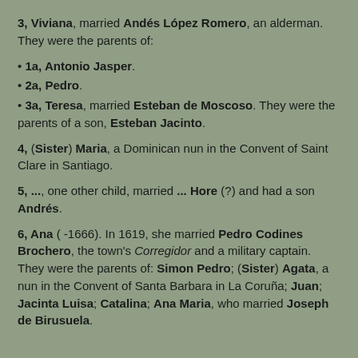3, Viviana, married Andés López Romero, an alderman. They were the parents of:
1a, Antonio Jasper.
2a, Pedro.
3a, Teresa, married Esteban de Moscoso. They were the parents of a son, Esteban Jacinto.
4, (Sister) Maria, a Dominican nun in the Convent of Saint Clare in Santiago.
5, ..., one other child, married ... Hore (?) and had a son Andrés.
6, Ana ( -1666). In 1619, she married Pedro Codines Brochero, the town's Corregidor and a military captain. They were the parents of: Simon Pedro; (Sister) Agata, a nun in the Convent of Santa Barbara in La Coruña; Juan; Jacinta Luisa; Catalina; Ana Maria, who married Joseph de Birusuela.